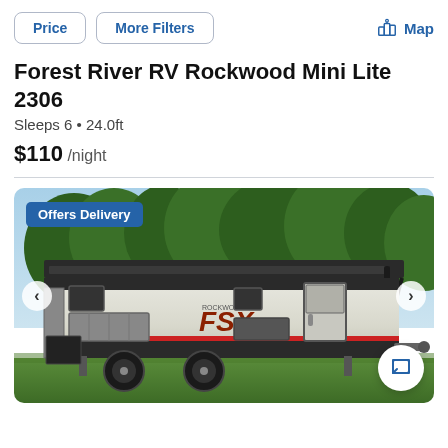Price  More Filters  Map
Forest River RV Rockwood Mini Lite 2306
Sleeps 6 • 24.0ft
$110 /night
[Figure (photo): Travel trailer with FSX branding parked on grass with trees in background. Blue badge overlay reads 'Offers Delivery'. Left and right navigation arrows visible. Chat button in bottom right corner.]